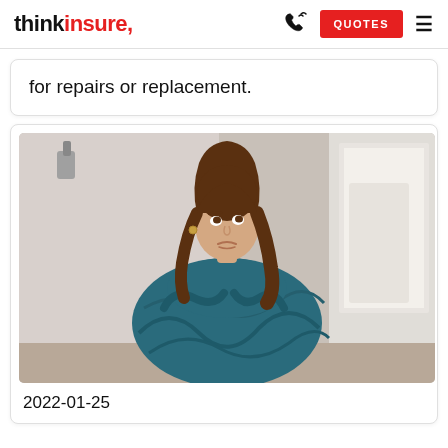thinkinsure. | QUOTES
for repairs or replacement.
[Figure (photo): A young woman with shoulder-length brown hair sitting hunched over, wrapped in a teal/dark blue towel or blanket, looking upward with a worried or exasperated expression. Background shows a bathroom or laundry area with white/grey walls and a window to the right.]
2022-01-25